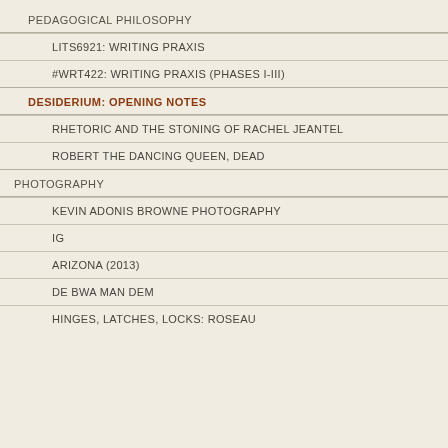PEDAGOGICAL PHILOSOPHY
LITS6921: WRITING PRAXIS
#WRT422: WRITING PRAXIS (PHASES I-III)
DESIDERIUM: OPENING NOTES
RHETORIC AND THE STONING OF RACHEL JEANTEL
ROBERT THE DANCING QUEEN, DEAD
PHOTOGRAPHY
KEVIN ADONIS BROWNE PHOTOGRAPHY
IG
ARIZONA (2013)
DE BWA MAN DEM
HINGES, LATCHES, LOCKS: ROSEAU